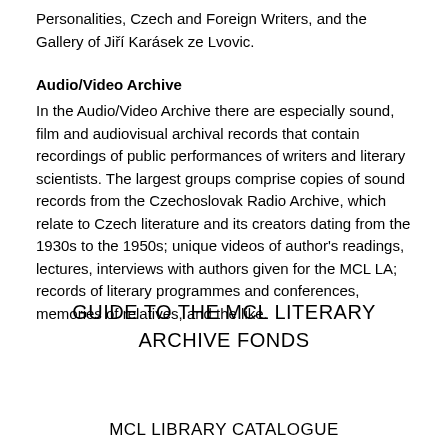Personalities, Czech and Foreign Writers, and the Gallery of Jiří Karásek ze Lvovic.
Audio/Video Archive
In the Audio/Video Archive there are especially sound, film and audiovisual archival records that contain recordings of public performances of writers and literary scientists. The largest groups comprise copies of sound records from the Czechoslovak Radio Archive, which relate to Czech literature and its creators dating from the 1930s to the 1950s; unique videos of author's readings, lectures, interviews with authors given for the MCL LA; records of literary programmes and conferences, memories of relatives, and the like.
GUIDE TO THE MCL LITERARY ARCHIVE FONDS
MCL LIBRARY CATALOGUE